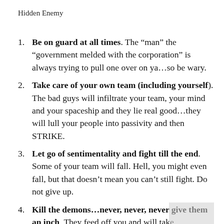Hidden Enemy
Be on guard at all times. The “man” the “government melded with the corporation” is always trying to pull one over on ya…so be wary.
Take care of your own team (including yourself). The bad guys will infiltrate your team, your mind and your spaceship and they lie real good…they will lull your people into passivity and then STRIKE.
Let go of sentimentality and fight till the end. Some of your team will fall. Hell, you might even fall, but that doesn’t mean you can’t still fight. Do not give up.
Kill the demons…never, never, never give them an inch. They feed off you and will take